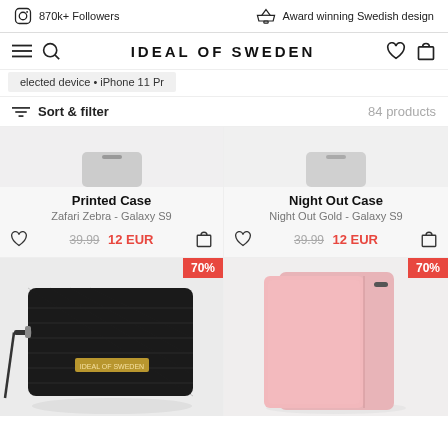870k+ Followers   Award winning Swedish design
IDEAL OF SWEDEN
elected device • iPhone 11 Pr
Sort & filter   84 products
Printed Case
Zafari Zebra - Galaxy S9
39.99  12 EUR
Night Out Case
Night Out Gold - Galaxy S9
39.99  12 EUR
[Figure (photo): Black leather wallet phone case with gold logo and wrist strap, 70% off badge]
[Figure (photo): Pink folio-style phone case shown open, 70% off badge]